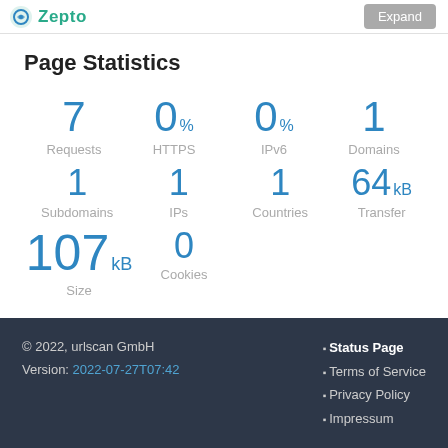Zepto  Expand
Page Statistics
7 Requests  0% HTTPS  0% IPv6  1 Domains
1 Subdomains  1 IPs  1 Countries  64 kB Transfer
107 kB Size  0 Cookies
© 2022, urlscan GmbH
Version: 2022-07-27T07:42
• Status Page
• Terms of Service
• Privacy Policy
• Impressum